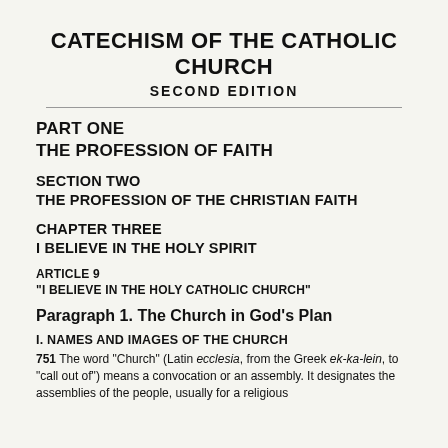CATECHISM OF THE CATHOLIC CHURCH
SECOND EDITION
PART ONE
THE PROFESSION OF FAITH
SECTION TWO
THE PROFESSION OF THE CHRISTIAN FAITH
CHAPTER THREE
I BELIEVE IN THE HOLY SPIRIT
ARTICLE 9
"I BELIEVE IN THE HOLY CATHOLIC CHURCH"
Paragraph 1. The Church in God's Plan
I. NAMES AND IMAGES OF THE CHURCH
751 The word "Church" (Latin ecclesia, from the Greek ek-ka-lein, to "call out of") means a convocation or an assembly. It designates the assemblies of the people, usually for a religious